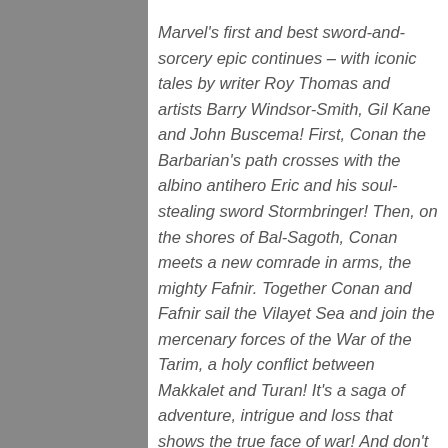Marvel's first and best sword-and-sorcery epic continues – with iconic tales by writer Roy Thomas and artists Barry Windsor-Smith, Gil Kane and John Buscema! First, Conan the Barbarian's path crosses with the albino antihero Eric and his soul-stealing sword Stormbringer! Then, on the shores of Bal-Sagoth, Conan meets a new comrade in arms, the mighty Fafnir. Together Conan and Fafnir sail the Vilayet Sea and join the mercenary forces of the War of the Tarim, a holy conflict between Makkalet and Turan! It's a saga of adventure, intrigue and loss that shows the true face of war! And don't